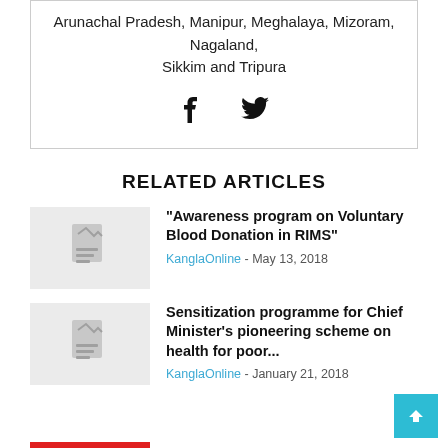Arunachal Pradesh, Manipur, Meghalaya, Mizoram, Nagaland, Sikkim and Tripura
[Figure (illustration): Facebook and Twitter social share icons]
RELATED ARTICLES
“Awareness program on Voluntary Blood Donation in RIMS”
KanglaOnline - May 13, 2018
Sensitization programme for Chief Minister’s pioneering scheme on health for poor...
KanglaOnline - January 21, 2018